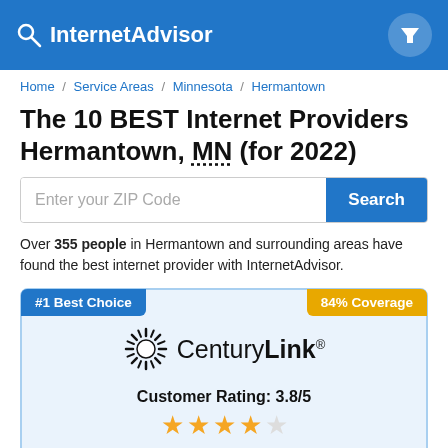InternetAdvisor
Home / Service Areas / Minnesota / Hermantown
The 10 BEST Internet Providers Hermantown, MN (for 2022)
Enter your ZIP Code [Search button]
Over 355 people in Hermantown and surrounding areas have found the best internet provider with InternetAdvisor.
#1 Best Choice
84% Coverage
[Figure (logo): CenturyLink logo with sunburst icon]
Customer Rating: 3.8/5
★★★★☆ (4 filled stars, 1 empty)
CenturyLink offers internet in Hermantown, MN.